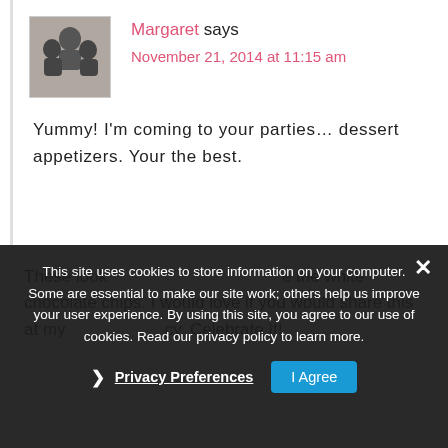[Figure (photo): Avatar photo of three people in grayscale]
Margaret says
November 21, 2014 at 11:15 am
Yummy! I'm coming to your parties… dessert appetizers. Your the best.
This site uses cookies to store information on your computer. Some are essential to make our site work; others help us improve your user experience. By using this site, you agree to our use of cookies. Read our privacy policy to learn more.
Privacy Preferences
I Agree
These look  e the white chocolate chips. I would love if you would share this at my  cy, Celebrate It!